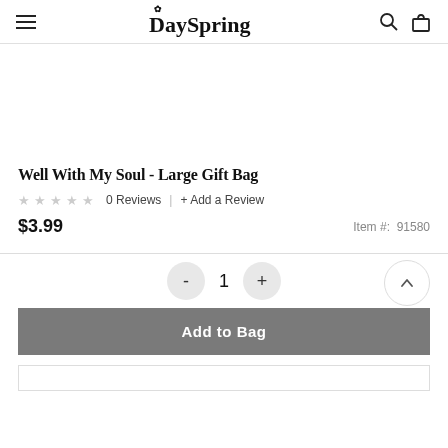DaySpring
Well With My Soul - Large Gift Bag
0 Reviews | + Add a Review
$3.99  Item #: 91580
- 1 +
Add to Bag